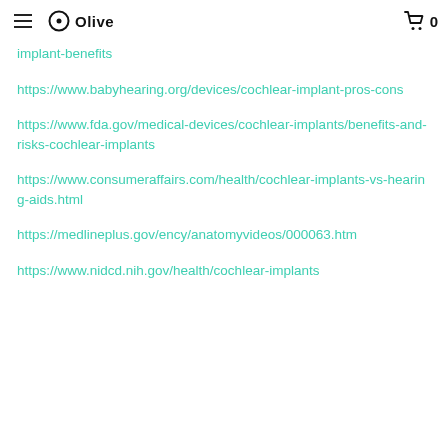Olive | 0
implant-benefits
https://www.babyhearing.org/devices/cochlear-implant-pros-cons
https://www.fda.gov/medical-devices/cochlear-implants/benefits-and-risks-cochlear-implants
https://www.consumeraffairs.com/health/cochlear-implants-vs-hearing-aids.html
https://medlineplus.gov/ency/anatomyvideos/000063.htm
https://www.nidcd.nih.gov/health/cochlear-implants